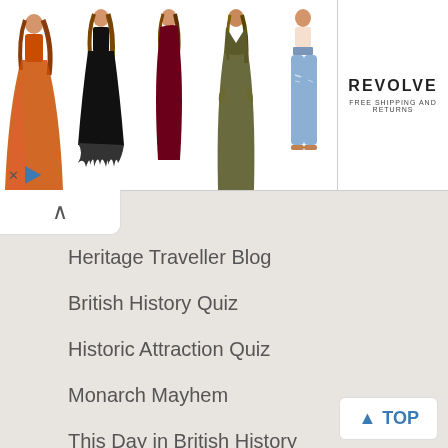[Figure (photo): Advertisement banner showing fashion models wearing dresses and jeans, with REVOLVE FREE SHIPPING AND RETURNS logo on the right side.]
Heritage Traveller Blog
British History Quiz
Historic Attraction Quiz
Monarch Mayhem
This Day in British History
Useful stuff
Contact Us
Privacy
About Britain Express